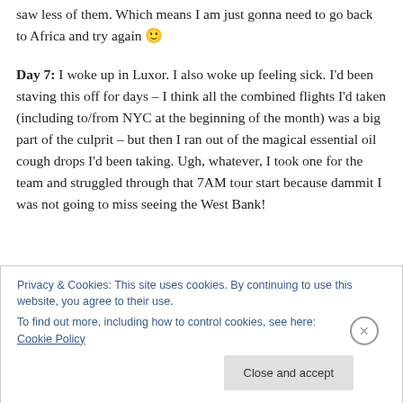saw less of them. Which means I am just gonna need to go back to Africa and try again 🙂
Day 7: I woke up in Luxor. I also woke up feeling sick. I'd been staving this off for days – I think all the combined flights I'd taken (including to/from NYC at the beginning of the month) was a big part of the culprit – but then I ran out of the magical essential oil cough drops I'd been taking. Ugh, whatever, I took one for the team and struggled through that 7AM tour start because dammit I was not going to miss seeing the West Bank!
Privacy & Cookies: This site uses cookies. By continuing to use this website, you agree to their use. To find out more, including how to control cookies, see here: Cookie Policy